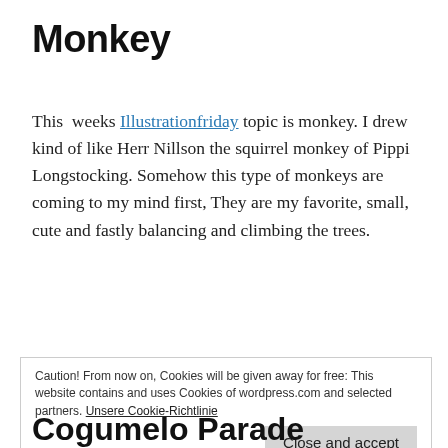Monkey
This weeks Illustrationfriday topic is monkey. I drew kind of like Herr Nillson the squirrel monkey of Pippi Longstocking. Somehow this type of monkeys are coming to my mind first, They are my favorite, small, cute and fastly balancing and climbing the trees.
Continue reading
Caution! From now on, Cookies will be given away for free: This website contains and uses Cookies of wordpress.com and selected partners. Unsere Cookie-Richtlinie
Cogumelo Parade